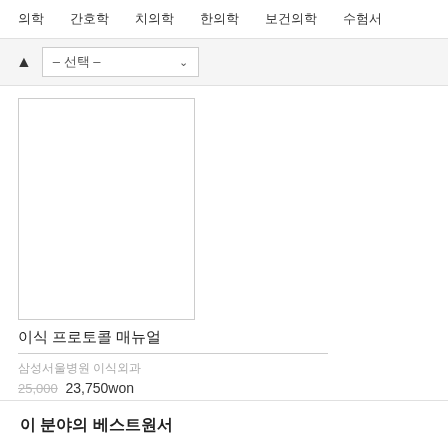의학  간호학  치의학  한의학  보건의학  수험서
– 선택 –
[Figure (other): Book cover placeholder (white rectangle with border)]
이식 프로토콜 매뉴얼
삼성서울병원 이식외과
25,000  23,750won
이 분야의 베스트원서